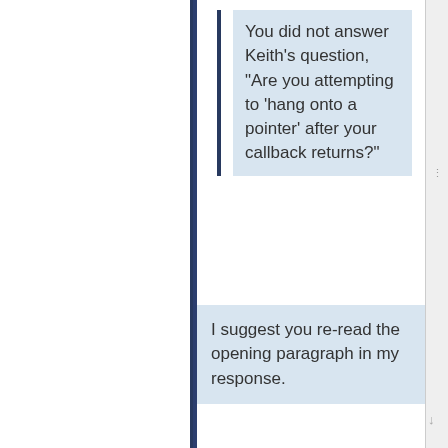You did not answer Keith's question, "Are you attempting to 'hang onto a pointer' after your callback returns?"
I suggest you re-read the opening paragraph in my response.
I did read it and found a simple "No." followed by an elaboration of facts unrelated to the question. It was just as if you answered a different question.
When I call sqlite3_exec from my code,